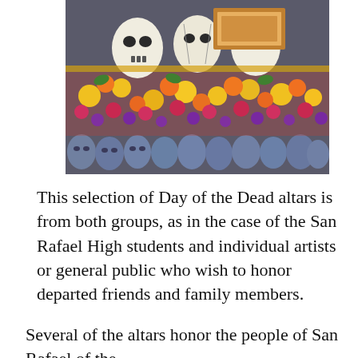[Figure (photo): Day of the Dead display showing decorated sugar skulls and colorful tissue paper flowers arranged in a row, with white painted skulls in the foreground and bright yellow, orange, pink and purple flower decorations.]
This selection of Day of the Dead altars is from both groups, as in the case of the San Rafael High students and individual artists or general public who wish to honor departed friends and family members.
Several of the altars honor the people of San Rafael of the past as well as early settlers like Don Timoteo Murphy...
Privacy & Cookies: This site uses cookies. By continuing to use this website, you agree to their use.
To find out more, including how to control cookies, see here: Cookie Policy